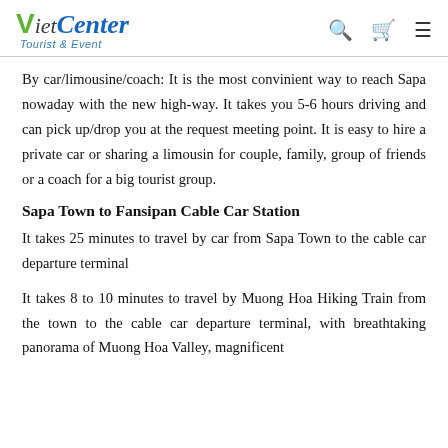VietCenter Tourist & Event
By car/limousine/coach: It is the most convinient way to reach Sapa nowaday with the new high-way. It takes you 5-6 hours driving and can pick up/drop you at the request meeting point. It is easy to hire a private car or sharing a limousin for couple, family, group of friends or a coach for a big tourist group.
Sapa Town to Fansipan Cable Car Station
It takes 25 minutes to travel by car from Sapa Town to the cable car departure terminal
It takes 8 to 10 minutes to travel by Muong Hoa Hiking Train from the town to the cable car departure terminal, with breathtaking panorama of Muong Hoa Valley, magnificent